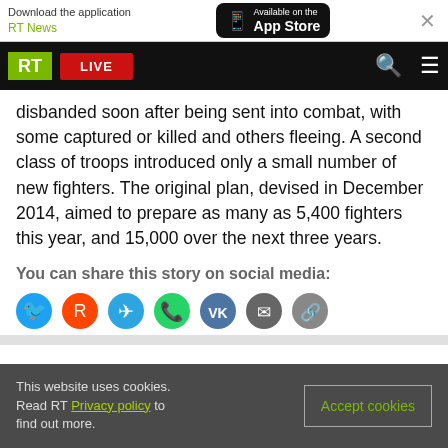Download the application RT News — Available on the App Store
RT LIVE
disbanded soon after being sent into combat, with some captured or killed and others fleeing. A second class of troops introduced only a small number of new fighters. The original plan, devised in December 2014, aimed to prepare as many as 5,400 fighters this year, and 15,000 over the next three years.
You can share this story on social media:
[Figure (infographic): Social media share icons: Twitter, Reddit, Telegram, WhatsApp, VK, Email, Link]
This website uses cookies. Read RT Privacy policy to find out more.
Accept cookies